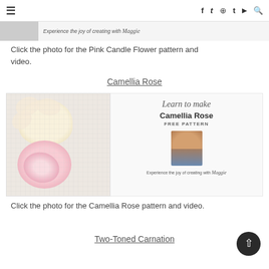☰  f  t  ⊕  t  ▶  🔍
[Figure (screenshot): Partial top banner showing 'Experience the joy of creating with Maggie' text and a partial image]
Click the photo for the Pink Candle Flower pattern and video.
Camellia Rose
[Figure (photo): Photo of two crochet flowers on white mesh: a cream/yellow flower on top and a pink rose below. Accompanied by promotional text panel reading 'Learn to make Camellia Rose FREE PATTERN' with a portrait photo of Maggie and text 'Experience the joy of creating with Maggie']
Click the photo for the Camellia Rose pattern and video.
Two-Toned Carnation